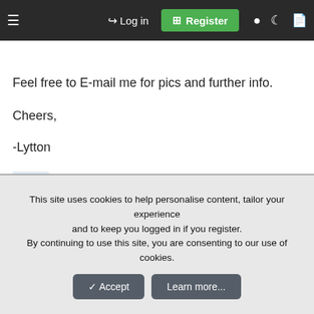≡  →) Log in  [+] Register  ● ) 🗋
Feel free to E-mail me for pics and further info.
Cheers,
-Lytton
[Figure (other): Broken image icon (small landscape image placeholder with a red X)]
This site uses cookies to help personalise content, tailor your experience and to keep you logged in if you register.
By continuing to use this site, you are consenting to our use of cookies.